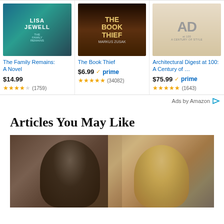[Figure (photo): Book cover: The Family Remains: A Novel by Lisa Jewell, dark teal/green tones]
The Family Remains: A Novel
$14.99
★★★★☆ (1759)
[Figure (photo): Book cover: The Book Thief, dark dramatic tones]
The Book Thief
$6.99 ✓prime
★★★★★ (34082)
[Figure (photo): Book cover: Architectural Digest at 100: A Century of Style, beige/tan tones with AD monogram]
Architectural Digest at 100: A Century of ...
$75.99 ✓prime
★★★★★ (1643)
Ads by Amazon
Articles You May Like
[Figure (photo): Photograph showing two people from behind, one with grey/brown hair and one with blonde hair, in an outdoor/urban setting]